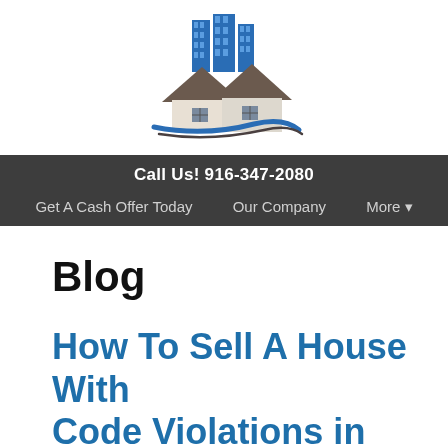[Figure (logo): Real estate company logo showing two houses with blue skyscraper buildings rising behind them and a blue swoosh/wave beneath]
Call Us! 916-347-2080
Get A Cash Offer Today   Our Company   More ▾
Blog
How To Sell A House With Code Violations in Sacramento